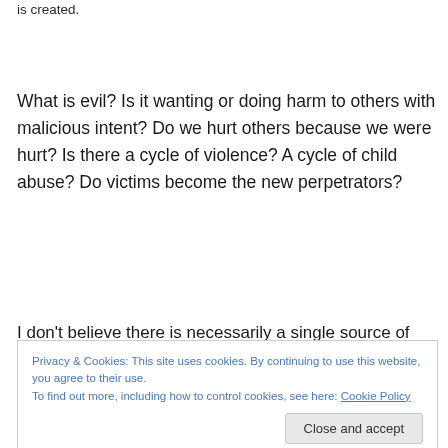is created.
What is evil? Is it wanting or doing harm to others with malicious intent? Do we hurt others because we were hurt? Is there a cycle of violence? A cycle of child abuse? Do victims become the new perpetrators?
I don't believe there is necessarily a single source of evil
Privacy & Cookies: This site uses cookies. By continuing to use this website, you agree to their use.
To find out more, including how to control cookies, see here: Cookie Policy
Close and accept